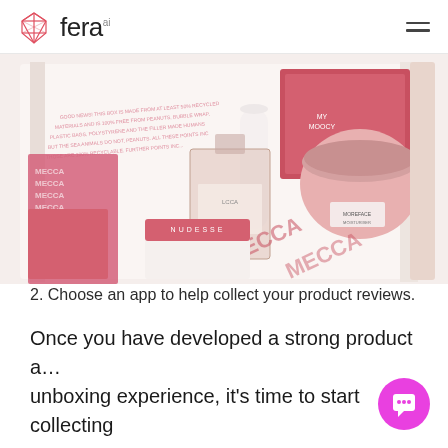fera ai
[Figure (photo): Open white box containing cosmetic products including a red/coral box, a glass perfume bottle, a pink lid jar, white tube, and packaging with MECCA and NUDESSE branding]
2. Choose an app to help collect your product reviews.
Once you have developed a strong product a… unboxing experience, it's time to start collecting